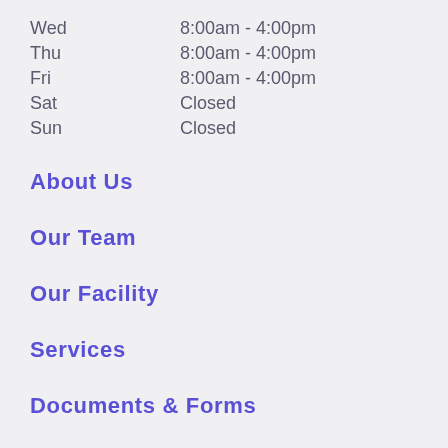Wed   8:00am - 4:00pm
Thu   8:00am - 4:00pm
Fri   8:00am - 4:00pm
Sat   Closed
Sun   Closed
About Us
Our Team
Our Facility
Services
Documents & Forms